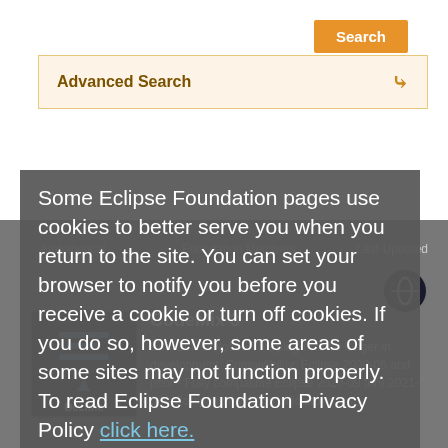[Figure (screenshot): Search button (orange) in top-right corner of a web page]
Advanced Search
| Alphabetical | Foundation Members | Last Updated |
| --- | --- | --- |
[Figure (screenshot): CodeMix 3 plugin icon - dark background with blue horizontal lines and a cloud/download icon]
CodeMix 3
End Of Life Notice This plug-in is no longer in development. Compatibility: Eclipse 2020-06 and prior - Fully compatible Eclipse 2020-09 thru 2021-09 - Compatible with modifications
Some Eclipse Foundation pages use cookies to better serve you when you return to the site. You can set your browser to notify you before you receive a cookie or turn off cookies. If you do so, however, some areas of some sites may not function properly. To read Eclipse Foundation Privacy Policy click here.
[Figure (screenshot): Cookie consent buttons: Decline and Allow cookies]